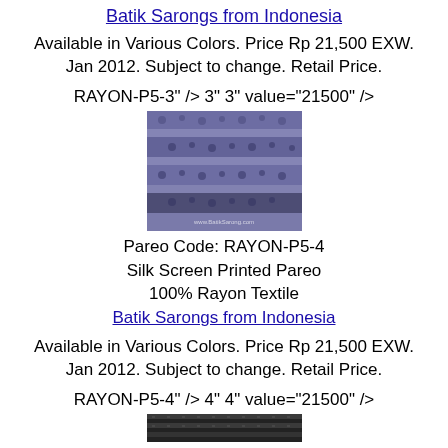Batik Sarongs from Indonesia
Available in Various Colors. Price Rp 21,500 EXW. Jan 2012. Subject to change. Retail Price.
RAYON-P5-3" /> 3" 3" value="21500" />
[Figure (photo): Photo of a blue/purple silk screen printed pareo with floral pattern, watermark www.BatikSarong.com]
Pareo Code: RAYON-P5-4
Silk Screen Printed Pareo
100% Rayon Textile
Batik Sarongs from Indonesia
Available in Various Colors. Price Rp 21,500 EXW. Jan 2012. Subject to change. Retail Price.
RAYON-P5-4" /> 4" 4" value="21500" />
[Figure (photo): Partial photo of another batik pareo in dark tones at bottom of page]